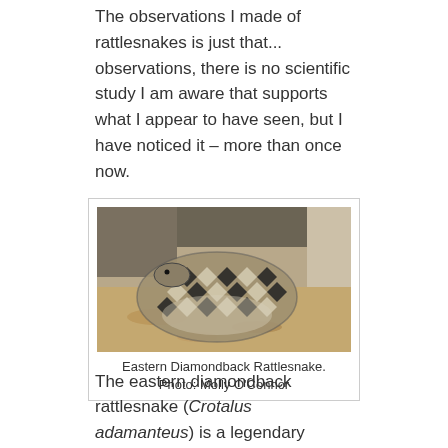The observations I made of rattlesnakes is just that... observations, there is no scientific study I am aware that supports what I appear to have seen, but I have noticed it – more than once now.
[Figure (photo): Eastern Diamondback Rattlesnake coiled on leaf litter and wood. Photo by Molly O'Connor.]
Eastern Diamondback Rattlesnake. Photo: Molly O'Connor
The eastern diamondback rattlesnake (Crotalus adamanteus) is a legendary